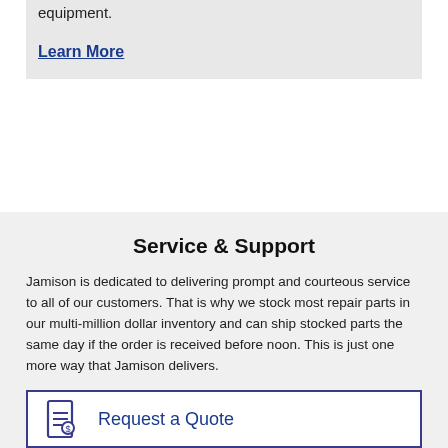equipment.
Learn More
Service & Support
Jamison is dedicated to delivering prompt and courteous service to all of our customers. That is why we stock most repair parts in our multi-million dollar inventory and can ship stocked parts the same day if the order is received before noon. This is just one more way that Jamison delivers.
Request a Quote